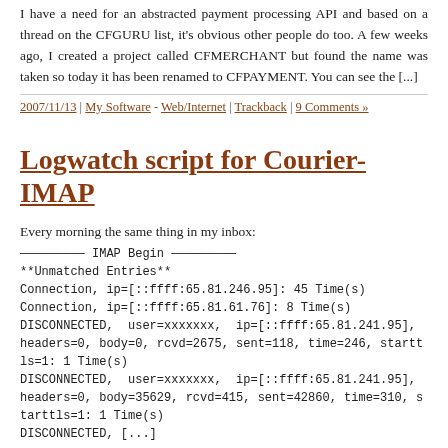I have a need for an abstracted payment processing API and based on a thread on the CFGURU list, it's obvious other people do too. A few weeks ago, I created a project called CFMERCHANT but found the name was taken so today it has been renamed to CFPAYMENT. You can see the [...]
2007/11/13 | My Software - Web/Internet | Trackback | 9 Comments »
Logwatch script for Courier-IMAP
Every morning the same thing in my inbox:
————————— IMAP Begin —————————
**Unmatched Entries**
Connection, ip=[::ffff:65.81.246.95]: 45 Time(s)
Connection, ip=[::ffff:65.81.61.76]: 8 Time(s)
DISCONNECTED,  user=xxxxxxx,  ip=[::ffff:65.81.241.95],  headers=0, body=0, rcvd=2675, sent=118, time=246, starttls=1: 1 Time(s)
DISCONNECTED,  user=xxxxxxx,  ip=[::ffff:65.81.241.95],  headers=0, body=35629, rcvd=415, sent=42860, time=310, starttls=1: 1 Time(s)
DISCONNECTED, [...]
2007/08/31 | My Software - Web/Internet | Trackback | 1 Comment »